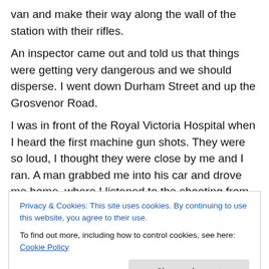van and make their way along the wall of the station with their rifles.
An inspector came out and told us that things were getting very dangerous and we should disperse. I went down Durham Street and up the Grosvenor Road.
I was in front of the Royal Victoria Hospital when I heard the first machine gun shots. They were so loud, I thought they were close by me and I ran. A man grabbed me into his car and drove me home, where I listened to the shooting from my bed.
That night was Patrick Rooney died in his bedroom in
Privacy & Cookies: This site uses cookies. By continuing to use this website, you agree to their use.
To find out more, including how to control cookies, see here: Cookie Policy
Next day I walked across the Falls to the Shankill and up